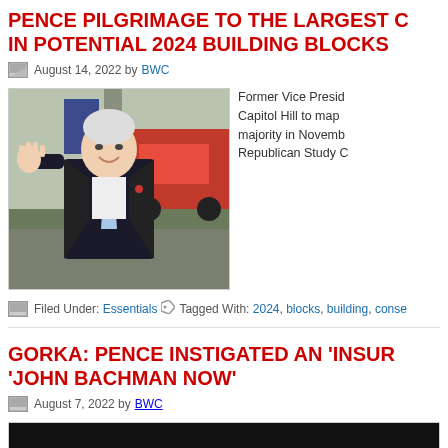PENCE PILGRIMAGE TO THE LARGEST C IN POTENTIAL 2024 BUILDING BLOCKS
August 14, 2022 by BWC
[Figure (photo): Former Vice President Mike Pence waving, wearing a dark suit and light blue tie, in front of a red truck and building.]
Former Vice Presi... Capitol Hill to map ... majority in Novemb... Republican Study C...
Filed Under: Essentials   Tagged With: 2024, blocks, building, conse...
GORKA: PENCE INSTIGATED AN 'INSUR 'JOHN BACHMAN NOW'
August 7, 2022 by BWC
[Figure (screenshot): Dark/black video thumbnail at the bottom of the page.]